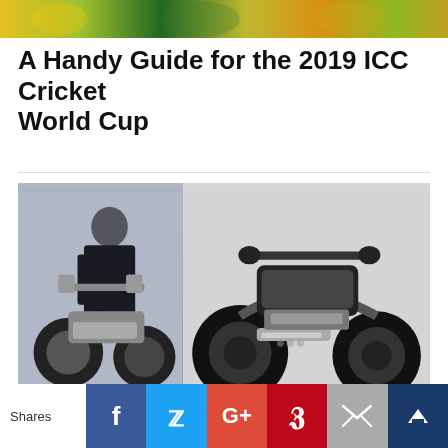[Figure (photo): Top banner image of cricket fans/players in yellow and green]
A Handy Guide for the 2019 ICC Cricket World Cup
[Figure (photo): Two motorcycle photos: left shows a person in black gear standing next to a custom motorcycle; right shows a close-up of a black custom motorcycle on a light background]
5 Cricketers those Love Motorcycle Riding [+Bike Model & Photo]
Shares | Facebook | Twitter | Google+ | Pinterest | Email | Crown